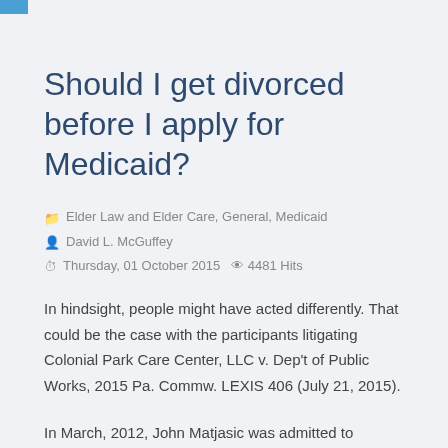Should I get divorced before I apply for Medicaid?
Elder Law and Elder Care, General, Medicaid
David L. McGuffey
Thursday, 01 October 2015   4481 Hits
In hindsight, people might have acted differently. That could be the case with the participants litigating Colonial Park Care Center, LLC v. Dep't of Public Works, 2015 Pa. Commw. LEXIS 406 (July 21, 2015).
In March, 2012, John Matjasic was admitted to Colonial Park, a nursing home. John was 77